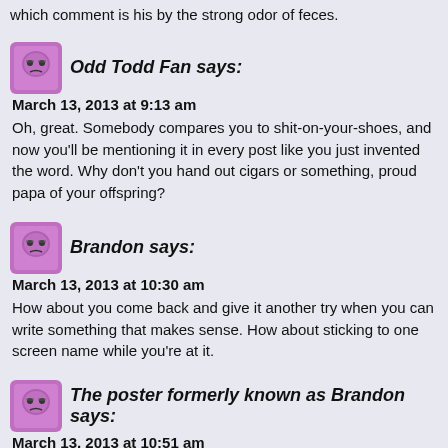which comment is his by the strong odor of feces.
Odd Todd Fan says:
March 13, 2013 at 9:13 am
Oh, great. Somebody compares you to shit-on-your-shoes, and now you'll be mentioning it in every post like you just invented the word. Why don't you hand out cigars or something, proud papa of your offspring?
Brandon says:
March 13, 2013 at 10:30 am
How about you come back and give it another try when you can write something that makes sense. How about sticking to one screen name while you're at it.
The poster formerly known as Brandon says:
March 13, 2013 at 10:51 am
You all just hurt my feelings. Are you proud of yourselves?
Brandon says:
March 13, 2013 at 12:45 pm
When I suggested you stick with one screen name I meant one you already use.